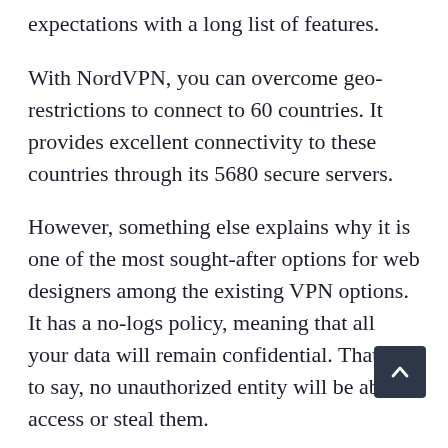expectations with a long list of features.
With NordVPN, you can overcome geo-restrictions to connect to 60 countries. It provides excellent connectivity to these countries through its 5680 secure servers.
However, something else explains why it is one of the most sought-after options for web designers among the existing VPN options. It has a no-logs policy, meaning that all your data will remain confidential. That is to say, no unauthorized entity will be able to access or steal them.
– 3. ExpressVPN
Most web designers consider ExpressVPN to be subservient to NordVPN due to its lesser number of